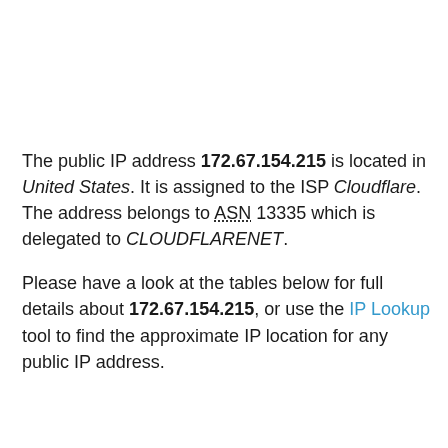The public IP address 172.67.154.215 is located in United States. It is assigned to the ISP Cloudflare. The address belongs to ASN 13335 which is delegated to CLOUDFLARENET.
Please have a look at the tables below for full details about 172.67.154.215, or use the IP Lookup tool to find the approximate IP location for any public IP address.